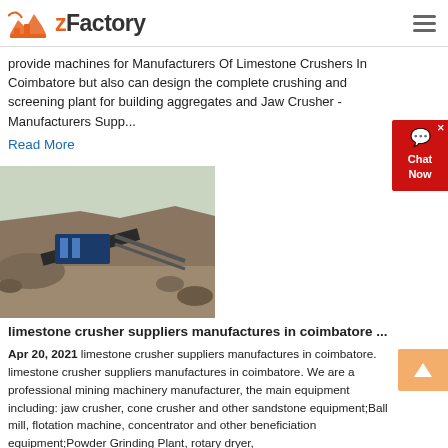zFactory
provide machines for Manufacturers Of Limestone Crushers In Coimbatore but also can design the complete crushing and screening plant for building aggregates and Jaw Crusher - Manufacturers Supp...
Read More
[Figure (photo): Limestone crusher machinery at a quarry/mining site with heavy equipment and stone piles]
limestone crusher suppliers manufactures in coimbatore ...
Apr 20, 2021  limestone crusher suppliers manufactures in coimbatore. limestone crusher suppliers manufactures in coimbatore. We are a professional mining machinery manufacturer, the main equipment including: jaw crusher, cone crusher and other sandstone equipment;Ball mill, flotation machine, concentrator and other beneficiation equipment;Powder Grinding Plant, rotary dryer,
Read More